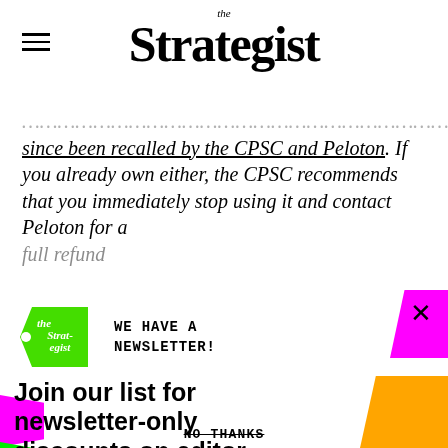the Strategist
since been recalled by the CPSC and Peloton. If you already own either, the CPSC recommends that you immediately stop using it and contact Peloton for a full refund
[Figure (logo): The Strategist green price-tag logo]
WE HAVE A NEWSLETTER!
Join our list for newsletter-only discounts on editor favorites
Plus actually good sales, expert picks, and excellent gift ideas
Enter email here
SIGN ME UP
NO THANKS